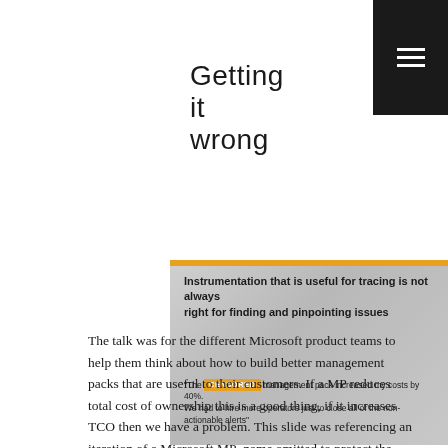Getting it wrong
[Figure (screenshot): Slide image with gradient grey background. Top orange bar. Title text: 'Instrumentation that is useful for tracing is not always right for finding and pinpointing issues'. Quote at bottom: '"The [CENSORED] management pack increased my costs by 40%. We had to hire more operators just to close all of the non-actionable alerts"']
The talk was for the different Microsoft product teams to help them think about how to build better management packs that are useful to their customers. If a MP reduces total cost of ownership this is a good thing, if it increases TCO then we have a problem. This slide was referencing an iteration of a Microsoft MP–name omitted to protect the guilty– which provided feedback that while potentially useful for a developer at Microsoft, was also inundating their customers (operators) with alerts.